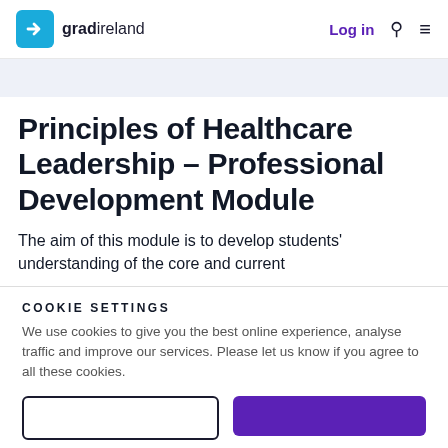gradireland — Log in
Principles of Healthcare Leadership – Professional Development Module
The aim of this module is to develop students' understanding of the core and current
COOKIE SETTINGS
We use cookies to give you the best online experience, analyse traffic and improve our services. Please let us know if you agree to all these cookies.